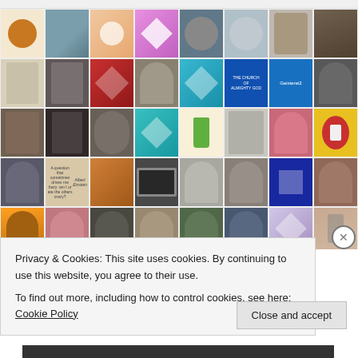[Figure (other): A grid mosaic of approximately 40 user avatar profile photos and icons arranged in 5 rows and 8 columns, showing various people's faces, logos, and decorative patterns from a social/blogging platform.]
Privacy & Cookies: This site uses cookies. By continuing to use this website, you agree to their use.
To find out more, including how to control cookies, see here: Cookie Policy
Close and accept